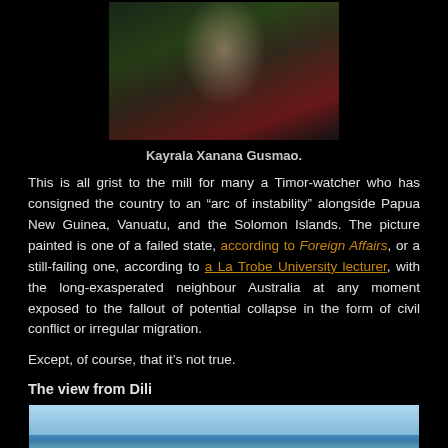[Figure (photo): Portrait painting or illustration of Kayrala Xanana Gusmao in military/camouflage uniform against dark background with red accent]
Kayrala Xanana Gusmao.
This is all grist to the mill for many a Timor-watcher who has consigned the country to an “arc of instability” alongside Papua New Guinea, Vanuatu, and the Solomon Islands. The picture painted is one of a failed state, according to Foreign Affairs, or a still-failing one, according to a La Trobe University lecturer, with the long-exasperated neighbour Australia at any moment exposed to the fallout of potential collapse in the form of civil conflict or irregular migration.
Except, of course, that it’s not true.
The view from Dili
[Figure (photo): Aerial or coastal photograph of Dili, Timor-Leste, showing the city along the waterfront with hills in the background and blue water in the foreground]